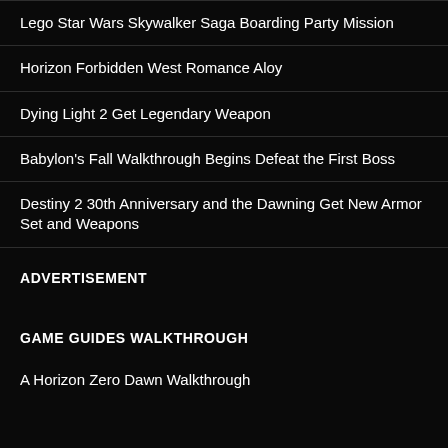Lego Star Wars Skywalker Saga Boarding Party Mission
Horizon Forbidden West Romance Aloy
Dying Light 2 Get Legendary Weapon
Babylon's Fall Walkthrough Begins Defeat the First Boss
Destiny 2 30th Anniversary and the Dawning Get New Armor Set and Weapons
ADVERTISEMENT
GAME GUIDES WALKTHROUGH
A Horizon Zero Dawn Walkthrough